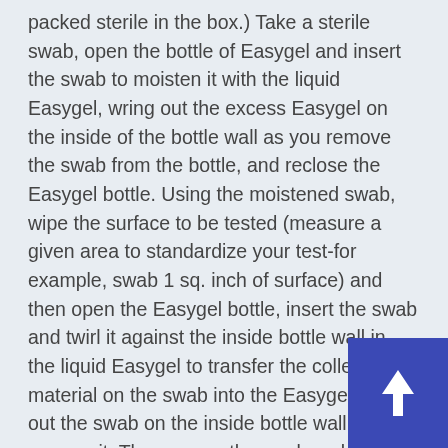packed sterile in the box.) Take a sterile swab, open the bottle of Easygel and insert the swab to moisten it with the liquid Easygel, wring out the excess Easygel on the inside of the bottle wall as you remove the swab from the bottle, and reclose the Easygel bottle. Using the moistened swab, wipe the surface to be tested (measure a given area to standardize your test-for example, swab 1 sq. inch of surface) and then open the Easygel bottle, insert the swab and twirl it against the inside bottle wall in the liquid Easygel to transfer the collected material on the swab into the Easygel. Wring out the swab on the inside bottle wall as you remove it. Throw away the swab and pour the Easygel containing the material from the swab into the pretreated petri plate, allow to solidify, incubate and count the number of colonies that grow. This approach w much better than streaking the swab on the s of a hard agar plate, or pressing your fingerprint